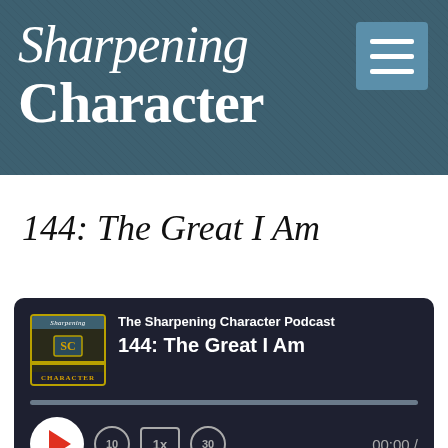[Figure (logo): Sharpening Character podcast logo/header with dark teal textured background and hamburger menu icon]
144: The Great I Am
[Figure (screenshot): Podcast audio player widget showing The Sharpening Character Podcast, episode 144: The Great I Am, with play button, seek bar, speed controls, and subscribe/share buttons. Time shows 00:00.]